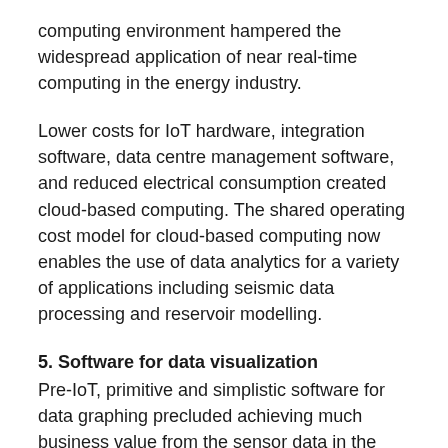computing environment hampered the widespread application of near real-time computing in the energy industry.
Lower costs for IoT hardware, integration software, data centre management software, and reduced electrical consumption created cloud-based computing. The shared operating cost model for cloud-based computing now enables the use of data analytics for a variety of applications including seismic data processing and reservoir modelling.
5. Software for data visualization
Pre-IoT, primitive and simplistic software for data graphing precluded achieving much business value from the sensor data in the energy industry.
New advanced data visualization software, developed